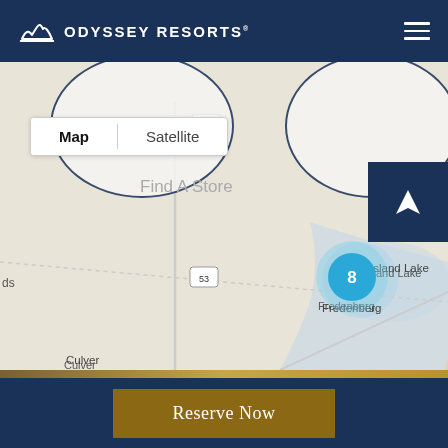Odyssey Resorts
[Figure (map): Interactive Google-style map showing northern Minnesota area with locations including Brimson, Silver Creek, Two Harbors, Island Lake, Fredenberg, Knife River, Lamont, Culver, Brookston, Saginaw, Arnold. A cluster marker shows '8' near Two Harbors. Route 53 and Route 61 are visible. Map/Satellite toggle and Find A Store placeholder text shown. A dark navy navigation/location button visible at top right of map.]
Reserve Now